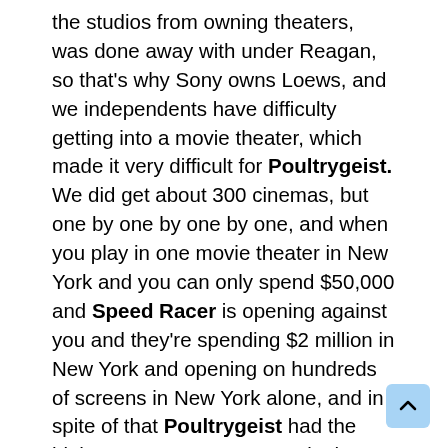the studios from owning theaters, was done away with under Reagan, so that's why Sony owns Loews, and we independents have difficulty getting into a movie theater, which made it very difficult for Poultrygeist. We did get about 300 cinemas, but one by one by one by one, and when you play in one movie theater in New York and you can only spend $50,000 and Speed Racer is opening against you and they're spending $2 million in New York and opening on hundreds of screens in New York alone, and in spite of that Poultrygeist had the highest per-screen average in the country on May 9, 2008, and yet two weeks later we get thrown out of our cinema because Indiana Jones Skullfucker needs every screen in the world. So that's the problem we have, so that's why I ran for chairman of this organization.
The other part of this platform is, they've gotten rid